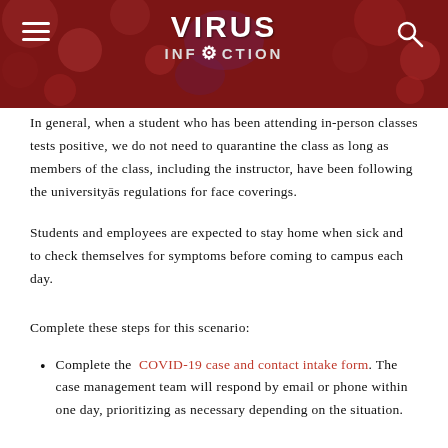[Figure (screenshot): Website header banner with red background showing blood cells/virus imagery. Logo reads 'VIRUS INFECTION CLUB' with gear icon in center. Hamburger menu icon on left, search icon on right.]
In general, when a student who has been attending in-person classes tests positive, we do not need to quarantine the class as long as members of the class, including the instructor, have been following the universityās regulations for face coverings.
Students and employees are expected to stay home when sick and to check themselves for symptoms before coming to campus each day.
Complete these steps for this scenario:
Complete the COVID-19 case and contact intake form. The case management team will respond by email or phone within one day, prioritizing as necessary depending on the situation.